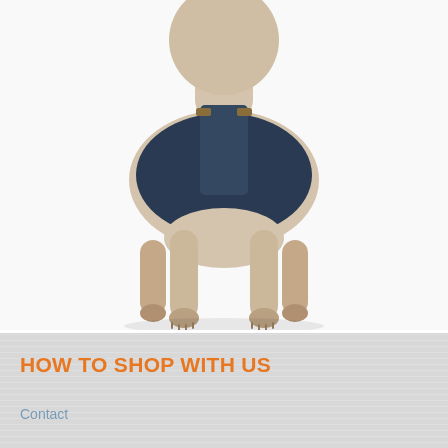[Figure (photo): A dog wearing a navy blue Thundershirt anxiety wrap, viewed from the front-side, standing on white background. The dog appears to be a short-haired breed like a Weimaraner.]
Thundershirt Dog Shirt
$44.95
from $27.95
No reviews
HOW TO SHOP WITH US
Contact